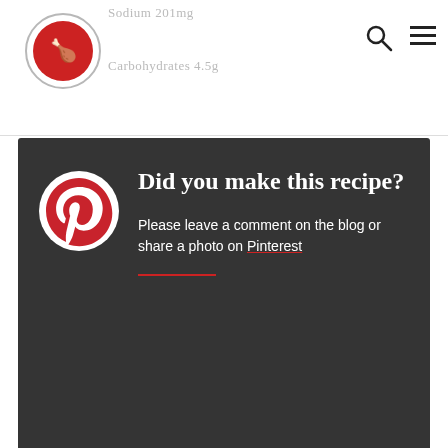Sodium 201mg / Carbohydrates 4.5g
[Figure (logo): Circular logo with red background and turkey/chicken icon, restaurant or recipe blog brand logo]
Did you make this recipe? Please leave a comment on the blog or share a photo on Pinterest
© Betony
CUISINE: American / CATEGORY: Cocktails
How useful was this post?
Click on a star to rate it!
[Figure (illustration): Five gold star rating icons]